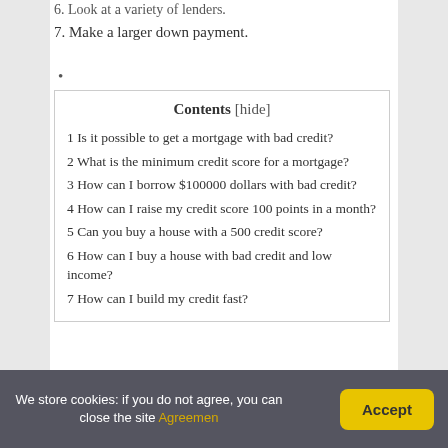6. Look at a variety of lenders.
7. Make a larger down payment.
•
| Contents [hide] |
| --- |
| 1 Is it possible to get a mortgage with bad credit? |
| 2 What is the minimum credit score for a mortgage? |
| 3 How can I borrow $100000 dollars with bad credit? |
| 4 How can I raise my credit score 100 points in a month? |
| 5 Can you buy a house with a 500 credit score? |
| 6 How can I buy a house with bad credit and low income? |
| 7 How can I build my credit fast? |
We store cookies: if you do not agree, you can close the site Agreemen